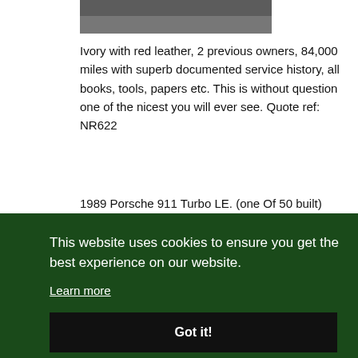[Figure (photo): Partial view of a car photo at the top of the page, cropped]
Ivory with red leather, 2 previous owners, 84,000 miles with superb documented service history, all books, tools, papers etc. This is without question one of the nicest you will ever see. Quote ref: NR622
1989 Porsche 911 Turbo LE. (one Of 50 built) No.26.
[Figure (photo): Red Porsche 911 Turbo LE photographed in front of a corrugated metal wall]
This website uses cookies to ensure you get the best experience on our website.
Learn more
Got it!
nd,
rk,